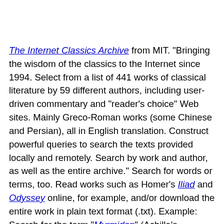The Internet Classics Archive from MIT. "Bringing the wisdom of the classics to the Internet since 1994. Select from a list of 441 works of classical literature by 59 different authors, including user-driven commentary and "reader's choice" Web sites. Mainly Greco-Roman works (some Chinese and Persian), all in English translation. Construct powerful queries to search the texts provided locally and remotely. Search by work and author, as well as the entire archive." Search for words or terms, too. Read works such as Homer's Iliad and Odyssey online, for example, and/or download the entire work in plain text format (.txt). Example: Search for the term "Myrmidon" (Achille's warriors)